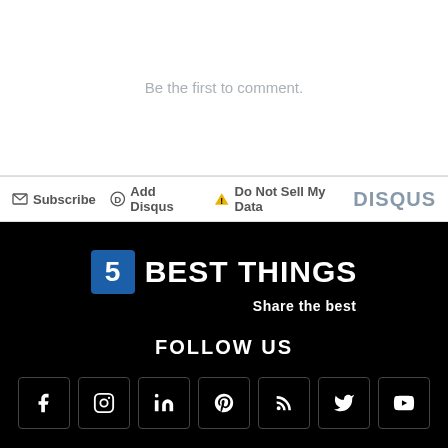Be the first to comment.
Subscribe  Add Disqus  Do Not Sell My Data  DISQUS
[Figure (logo): 5 Best Things logo with blue square containing number 5, white text 'BEST THINGS', tagline 'Share the best' on black background]
FOLLOW US
[Figure (infographic): Social media icons row: Facebook, Instagram, LinkedIn, Pinterest, RSS, Twitter, YouTube — white icons in square outlines on black background]